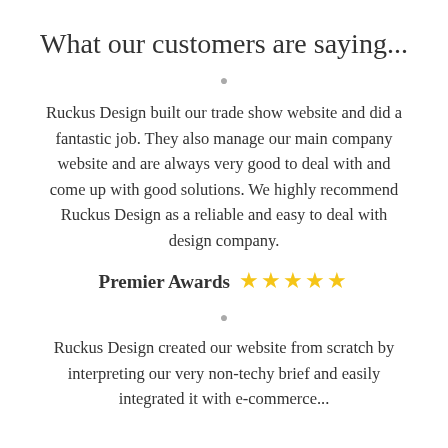What our customers are saying...
Ruckus Design built our trade show website and did a fantastic job. They also manage our main company website and are always very good to deal with and come up with good solutions. We highly recommend Ruckus Design as a reliable and easy to deal with design company.
Premier Awards ★★★★★
Ruckus Design created our website from scratch by interpreting our very non-techy brief and easily integrated it with e-commerce...